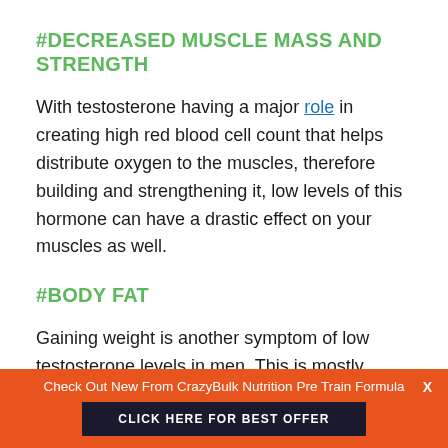#DECREASED MUSCLE MASS AND STRENGTH
With testosterone having a major role in creating high red blood cell count that helps distribute oxygen to the muscles, therefore building and strengthening it, low levels of this hormone can have a drastic effect on your muscles as well.
#BODY FAT
Gaining weight is another symptom of low testosterone levels in men. This is mostly because obesity and testosterone have a vicious cycle. Fat
Check Out New From CrazyBulk Nutrition Pre Train Formula  X
CLICK HERE FOR BEST OFFER